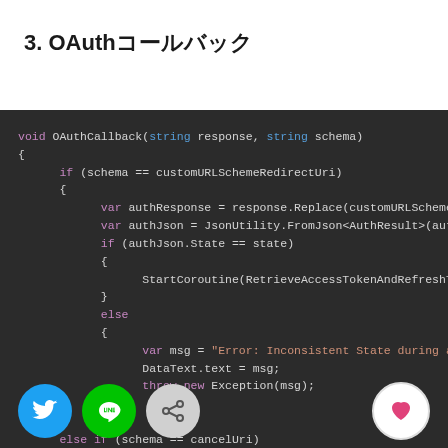3. OAuthコールバック
[Figure (screenshot): Code snippet showing a C# OAuthCallback method with if/else branches checking schema against customURLSchemeRedirectUri and cancelUri, handling auth response parsing and state validation]
[Figure (other): Social sharing buttons: Twitter (blue), LINE (green), Share (grey), Favorite heart (pink/white)]